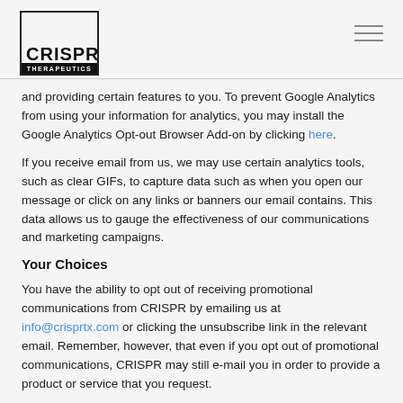CRISPR THERAPEUTICS
and providing certain features to you. To prevent Google Analytics from using your information for analytics, you may install the Google Analytics Opt-out Browser Add-on by clicking here.
If you receive email from us, we may use certain analytics tools, such as clear GIFs, to capture data such as when you open our message or click on any links or banners our email contains. This data allows us to gauge the effectiveness of our communications and marketing campaigns.
Your Choices
You have the ability to opt out of receiving promotional communications from CRISPR by emailing us at info@crisprtx.com or clicking the unsubscribe link in the relevant email. Remember, however, that even if you opt out of promotional communications, CRISPR may still e-mail you in order to provide a product or service that you request.